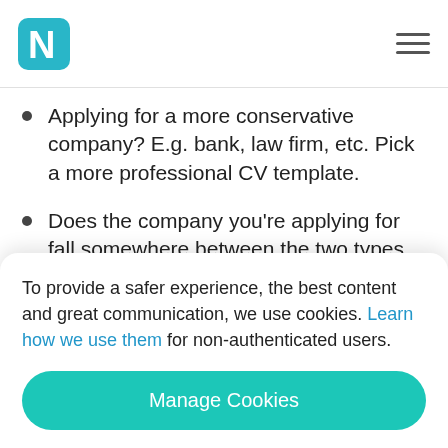Novoresume logo and navigation
Applying for a more conservative company? E.g. bank, law firm, etc. Pick a more professional CV template.
Does the company you’re applying for fall somewhere between the two types we mentioned? Then pick a modern or simple CV template.
To provide a safer experience, the best content and great communication, we use cookies. Learn how we use them for non-authenticated users.
Manage Cookies